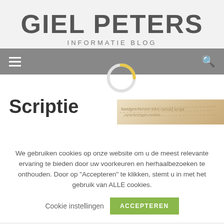GIEL PETERS
INFORMATIE BLOG
Navigation bar with hamburger menu and search icon
Scriptie
[Figure (illustration): Handwritten script / cursive text on aged parchment-colored background]
We gebruiken cookies op onze website om u de meest relevante ervaring te bieden door uw voorkeuren en herhaalbezoeken te onthouden. Door op "Accepteren" te klikken, stemt u in met het gebruik van ALLE cookies.
Cookie instellingen   ACCEPTEREN